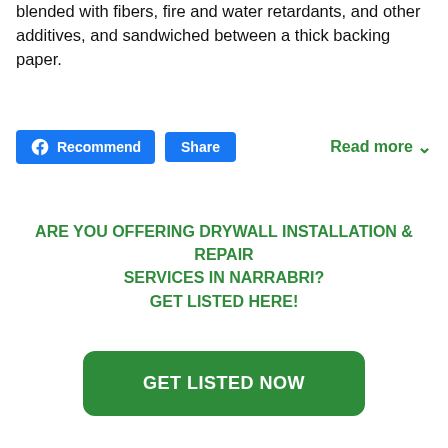blended with fibers, fire and water retardants, and other additives, and sandwiched between a thick backing paper.
[Figure (screenshot): Facebook Recommend and Share buttons, and a Read more link]
ARE YOU OFFERING DRYWALL INSTALLATION & REPAIR SERVICES IN NARRABRI?
GET LISTED HERE!
GET LISTED NOW